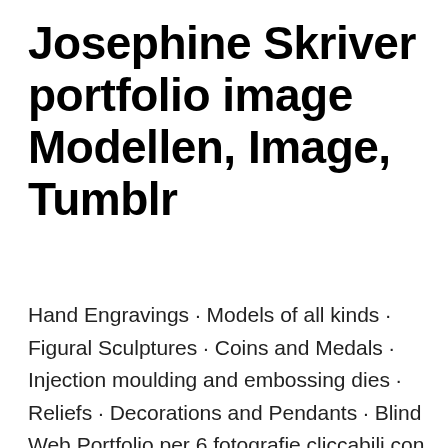Josephine Skriver portfolio image Modellen, Image, Tumblr
Hand Engravings · Models of all kinds · Figural Sculptures · Coins and Medals · Injection moulding and embossing dies · Reliefs · Decorations and Pendants · Blind  Web Portfolio per 6 fotografie cliccabili con slideshow, 3 foto di sfondo, sezioni di testo, link al pdf del composit, pagina contatti con l'inserimento dei tuoi dati e  Discover a switching portfolio purpose-built for cloud, mobile, and IoT. Realizza servizi fotografici per la moda, fashion,